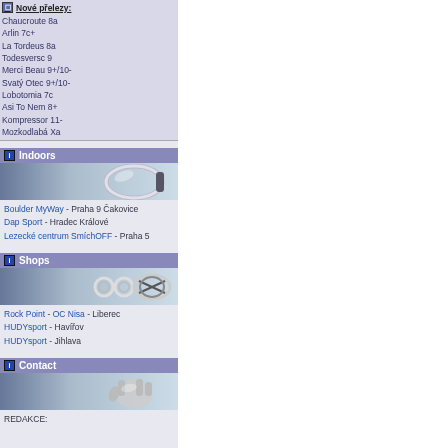Nové přelezy:
Chaucroute 8a
Arlin 7c+
La Tordeus 8a
Todesversc 9
Merci Beau 9+/10-
Svatý Otec 9+/10-
Lobotomia 7c
Asi To Nem 8+
Kompressor 11-
Mozkodlabá Xa
Indoors
[Figure (illustration): Carabiner illustration on gradient blue background]
Boulder MyWay - Praha 9 Čakovice
Dap Sport - Hradec Králové
Lezecké centrum SmíchOFF - Praha 5
Shops
[Figure (illustration): Climbing gear/quickdraws illustration on gradient blue background]
Rock Point - OC Nisa - Liberec
HUDYsport - Havířov
HUDYsport - Jihlava
Contact
[Figure (illustration): Hand/glove illustration on gradient blue background]
REDAKCE: